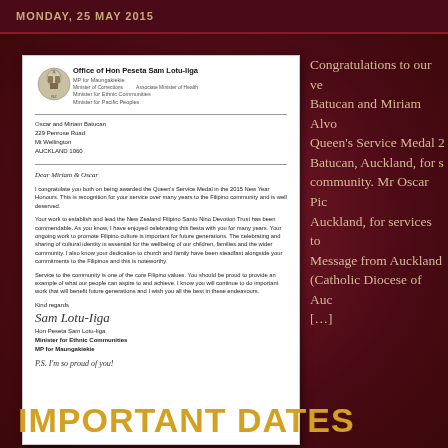MONDAY, 25 MAY 2015
[Figure (photo): Official letter from Office of Hon Peseta Sam Lotu-Iiga, MP for Maungakiekie, Minister of Corrections, Associate Minister of Health, Minister for Ethnic Communities, Minister for Pacific Peoples. Addressed to Oscar and Miriam Batucan, 229 Penrose Road, Mt Wellington, AUCKLAND 1060. Letter congratulates them on being awarded the Queen's Service Medal in the 2015 New Year Honours. Signed by Hon Peseta Sam Lotu-Iiga, Minister for Ethnic Communities, MP for Maungakiekie. P.S. I'm so proud of you!]
Congratulations to our very own Oscar Batucan and Miriam Alvo... Queen's Service Medal 2... Batucan, Auckland, for s... community. Mr Oscar Pic... Auckland, for services to... Message from Auckland... (Catholic Diocese of Auc... [...]
FILED UNDER: EVENTS, FEATURED POSTS, NEWS
IMPORTANT DATES